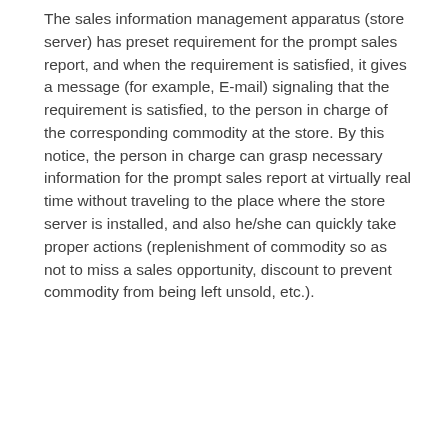The sales information management apparatus (store server) has preset requirement for the prompt sales report, and when the requirement is satisfied, it gives a message (for example, E-mail) signaling that the requirement is satisfied, to the person in charge of the corresponding commodity at the store. By this notice, the person in charge can grasp necessary information for the prompt sales report at virtually real time without traveling to the place where the store server is installed, and also he/she can quickly take proper actions (replenishment of commodity so as not to miss a sales opportunity, discount to prevent commodity from being left unsold, etc.).